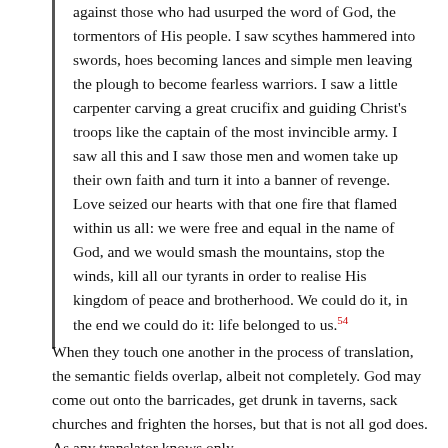against those who had usurped the word of God, the tormentors of His people. I saw scythes hammered into swords, hoes becoming lances and simple men leaving the plough to become fearless warriors. I saw a little carpenter carving a great crucifix and guiding Christ's troops like the captain of the most invincible army. I saw all this and I saw those men and women take up their own faith and turn it into a banner of revenge. Love seized our hearts with that one fire that flamed within us all: we were free and equal in the name of God, and we would smash the mountains, stop the winds, kill all our tyrants in order to realise His kingdom of peace and brotherhood. We could do it, in the end we could do it: life belonged to us.54
When they touch one another in the process of translation, the semantic fields overlap, albeit not completely. God may come out onto the barricades, get drunk in taverns, sack churches and frighten the horses, but that is not all god does. As any translator knows only